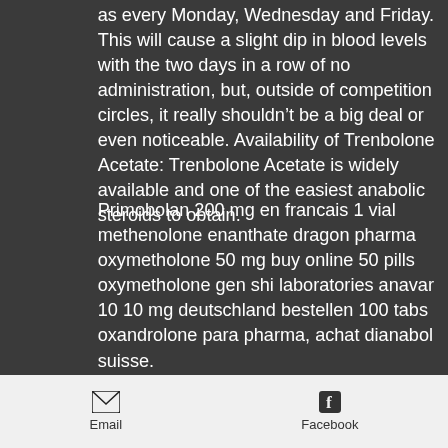as every Monday, Wednesday and Friday. This will cause a slight dip in blood levels with the two days in a row of no administration, but, outside of competition circles, it really shouldn’t be a big deal or even noticeable. Availability of Trenbolone Acetate: Trenbolone Acetate is widely available and one of the easiest anabolic steroids to obtain.
Primobolan 200 mg en francais 1 vial methenolone enanthate dragon pharma oxymetholone 50 mg buy online 50 pills oxymetholone gen shi laboratories anavar 10 10 mg deutschland bestellen 100 tabs oxandrolone para pharma, achat dianabol suisse.
Ces stéroïdes sont généralement fabriqués dans des pays étrangers et doivent donc passer en contrebande les frontières,
Email  Facebook